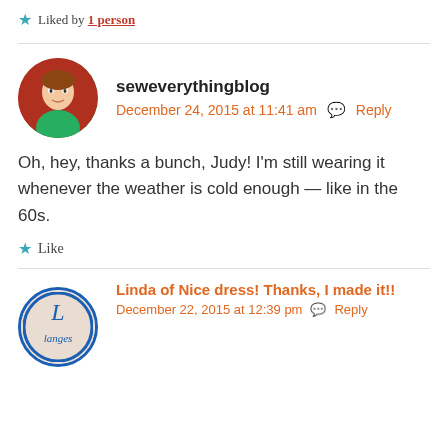★ Liked by 1 person
seweverythingblog
December 24, 2015 at 11:41 am · Reply
Oh, hey, thanks a bunch, Judy! I'm still wearing it whenever the weather is cold enough — like in the 60s.
★ Like
Linda of Nice dress! Thanks, I made it!!
December 22, 2015 at 12:39 pm · Reply